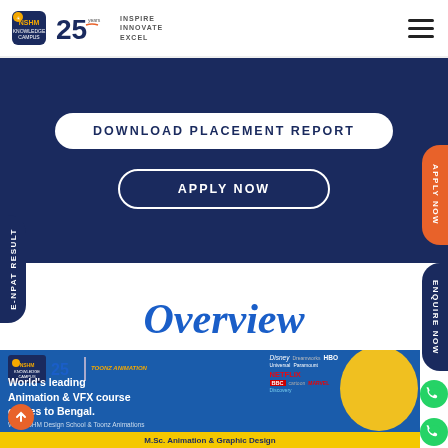NSHM Knowledge Campus — 25 years — Inspire Innovate Excel
DOWNLOAD PLACEMENT REPORT
APPLY NOW
E-NPAT RESULT
APPLY NOW
ENQUIRE NOW
Overview
[Figure (photo): NSHM Knowledge Campus promotional banner featuring Toonz Animation partnership. Text reads: World's leading Animation & VFX course comes to Bengal. With NSHM Design School & Toonz Animations. M.Sc. Animation & Graphic Design. Media brand logos including Disney, HBO, Netflix, BBC, Discovery, Cartoon Network, Marvel are shown.]